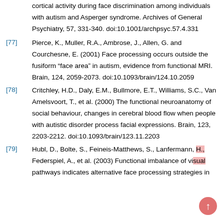cortical activity during face discrimination among individuals with autism and Asperger syndrome. Archives of General Psychiatry, 57, 331-340. doi:10.1001/archpsyc.57.4.331
[77] Pierce, K., Muller, R.A., Ambrose, J., Allen, G. and Courchesne, E. (2001) Face processing occurs outside the fusiform “face area” in autism, evidence from functional MRI. Brain, 124, 2059-2073. doi:10.1093/brain/124.10.2059
[78] Critchley, H.D., Daly, E.M., Bullmore, E.T., Williams, S.C., Van Amelsvoort, T., et al. (2000) The functional neuroanatomy of social behaviour, changes in cerebral blood flow when people with autistic disorder process facial expressions. Brain, 123, 2203-2212. doi:10.1093/brain/123.11.2203
[79] Hubl, D., Bolte, S., Feineis-Matthews, S., Lanfermann, H., Federspiel, A., et al. (2003) Functional imbalance of visual pathways indicates alternative face processing strategies in